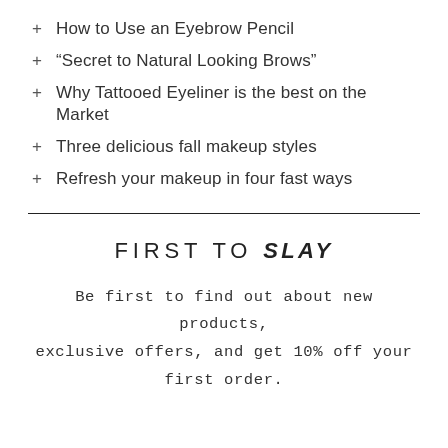+ How to Use an Eyebrow Pencil
+ “Secret to Natural Looking Brows”
+ Why Tattooed Eyeliner is the best on the Market
+ Three delicious fall makeup styles
+ Refresh your makeup in four fast ways
FIRST TO SLAY
Be first to find out about new products, exclusive offers, and get 10% off your first order.